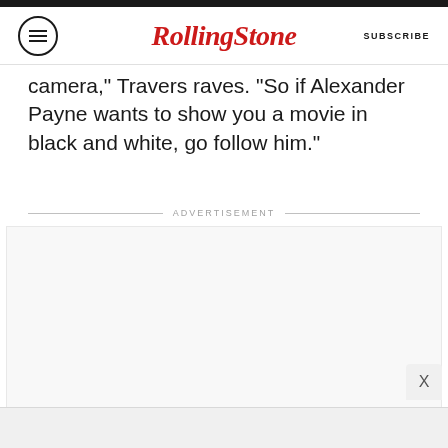RollingStone | SUBSCRIBE
camera, Travers raves. So if Alexander Payne wants to show you a movie in black and white, go follow him."
ADVERTISEMENT